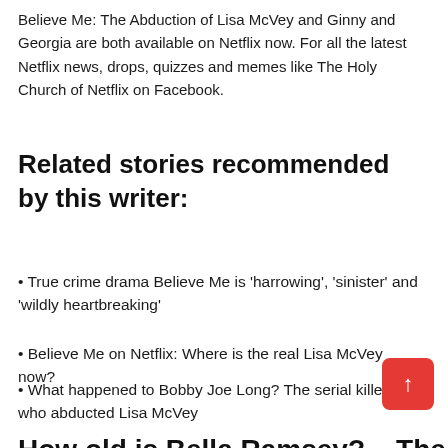Believe Me: The Abduction of Lisa McVey and Ginny and Georgia are both available on Netflix now. For all the latest Netflix news, drops, quizzes and memes like The Holy Church of Netflix on Facebook.
Related stories recommended by this writer:
• True crime drama Believe Me is 'harrowing', 'sinister' and 'wildly heartbreaking'
• Believe Me on Netflix: Where is the real Lisa McVey now?
• What happened to Bobby Joe Long? The serial killer who abducted Lisa McVey
How old is Bella Ramsey? – The US Sun